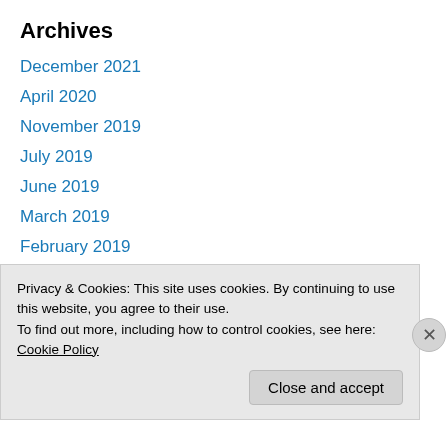Archives
December 2021
April 2020
November 2019
July 2019
June 2019
March 2019
February 2019
November 2018
July 2018
June 2018
May 2018
Privacy & Cookies: This site uses cookies. By continuing to use this website, you agree to their use.
To find out more, including how to control cookies, see here: Cookie Policy
Close and accept